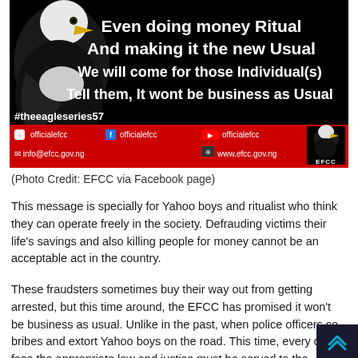[Figure (infographic): EFCC banner image with bald eagle on black background. Text reads: 'Even doing money Ritual And making it the new Usual We will come for those Individual(s) Tell them, It wont be business as Usual'. Hashtag #theeagleseries57. Red bar at bottom with social media handles: @officialefcc on Instagram, Facebook, YouTube; info@efcc.gov.ng; www.efcc.gov.ng. EFCC logo badge on right.]
(Photo Credit: EFCC via Facebook page)
This message is specially for Yahoo boys and ritualist who think they can operate freely in the society. Defrauding victims their life's savings and also killing people for money cannot be an acceptable act in the country.
These fraudsters sometimes buy their way out from getting arrested, but this time around, the EFCC has promised it won't be business as usual. Unlike in the past, when police officers co bribes and extort Yahoo boys on the road. This time, every d will face the appropriate law and justice must be served to the